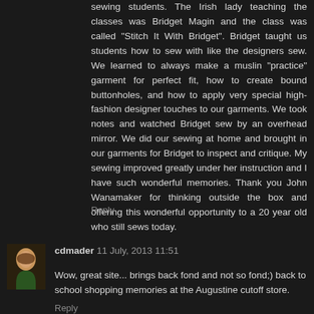sewing students. The Irish lady teaching the classes was Bridget Magin and the class was called "Stitch It With Bridget". Bridget taught us students how to sew with like the designers sew. We learned to always make a muslin "practice" garment for perfect fit, how to create bound buttonholes, and how to apply very special high-fashion designer touches to our garments. We took notes and watched Bridget sew by an overhead mirror. We did our sewing at home and brought in our garments for Bridget to inspect and critique. My sewing improved greatly under her instruction and I have such wonderful memories. Thank you John Wanamaker for thinking outside the box and offering this wonderful opportunity to a 20 year old who still sews today.
Reply
cdmader 11 July, 2013 11:51
Wow, great site... brings back fond and not so fond;) back to school shopping memories at the Augustine cutoff store.
Reply